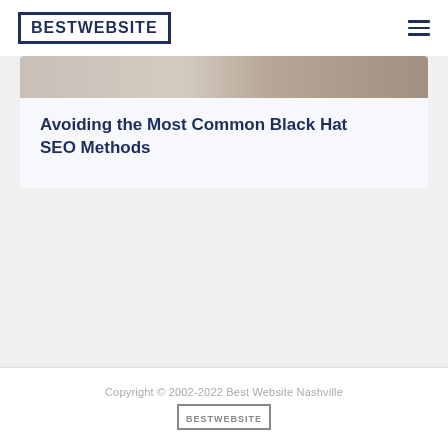BESTWEBSITE
[Figure (photo): Partial image strip visible at top of card, appears to show a blurred or cropped photo]
Avoiding the Most Common Black Hat SEO Methods
Copyright © 2002-2022 Best Website Nashville